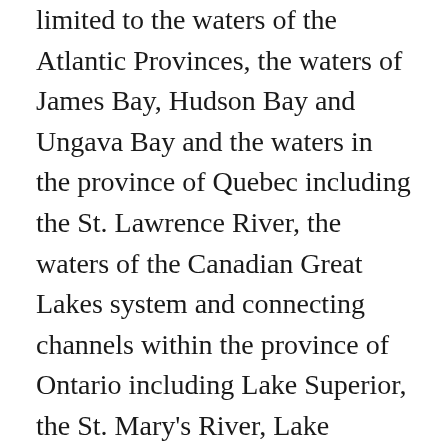limited to the waters of the Atlantic Provinces, the waters of James Bay, Hudson Bay and Ungava Bay and the waters in the province of Quebec including the St. Lawrence River, the waters of the Canadian Great Lakes system and connecting channels within the province of Ontario including Lake Superior, the St. Mary's River, Lake Huron, the St. Clair River, Lake St. Clair, the Detroit River, Lake Erie, Lake Ontario, the St. Lawrence River, the waters of Lake Winnipeg, the waters of the Athabasca River from Fort McMurray to Lake Athabasca and the waters of Lake